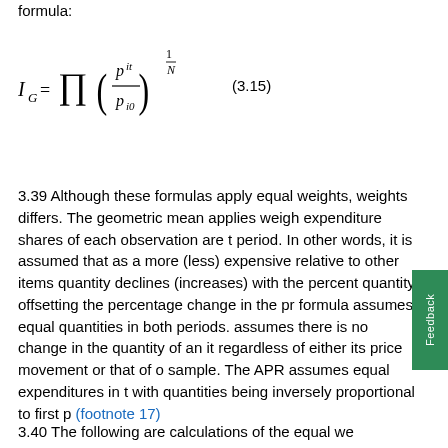formula:
3.39 Although these formulas apply equal weights, weights differs. The geometric mean applies weigh expenditure shares of each observation are t period. In other words, it is assumed that as a more (less) expensive relative to other items quantity declines (increases) with the percent quantity offsetting the percentage change in the pr formula assumes equal quantities in both periods. assumes there is no change in the quantity of an it regardless of either its price movement or that of o sample. The APR assumes equal expenditures in t with quantities being inversely proportional to first p (footnote 17)
3.40 The following are calculations of the equal we